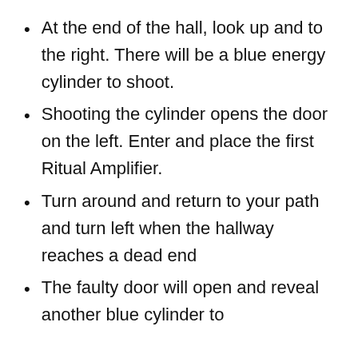At the end of the hall, look up and to the right. There will be a blue energy cylinder to shoot.
Shooting the cylinder opens the door on the left. Enter and place the first Ritual Amplifier.
Turn around and return to your path and turn left when the hallway reaches a dead end
The faulty door will open and reveal another blue cylinder to